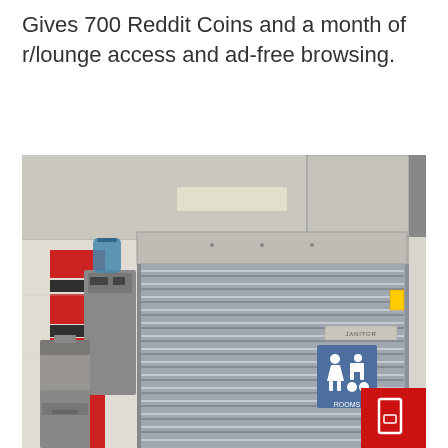Gives 700 Reddit Coins and a month of r/lounge access and ad-free browsing.
[Figure (photo): Indoor photo of what appears to be a school or office hallway area showing a roll-up security shutter/blind door, water fountain and bottle dispenser on the left, colored wall stripes (red and dark grey), a men's restroom sign, a janitor closet sign, and a red button panel in the bottom right corner.]